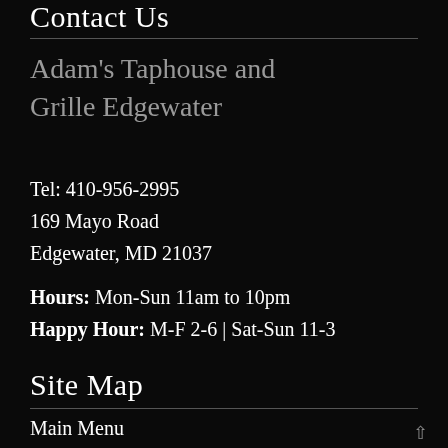Contact Us
Adam's Taphouse and Grille Edgewater
Tel: 410-956-2995
169 Mayo Road
Edgewater, MD 21037
Hours: Mon-Sun 11am to 10pm
Happy Hour: M-F 2-6 | Sat-Sun 11-3
Site Map
Main Menu
Lunch Menu